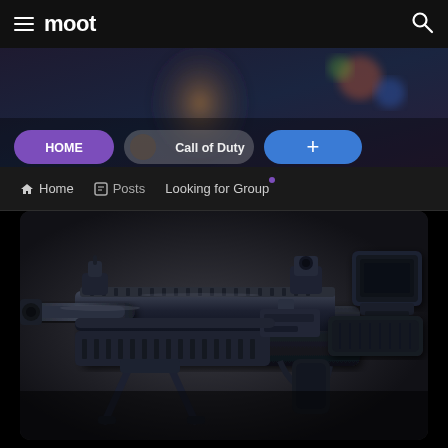moot
[Figure (screenshot): Moot app interface showing HOME, Call of Duty, and + navigation pills over a blurred hero banner with game art]
Home   Posts   Looking for Group
[Figure (photo): Close-up photograph of a detailed black assault rifle / submachine gun in-game model, showing barrel, receiver, rail system, bipod, and optical sights against a dark grey background]